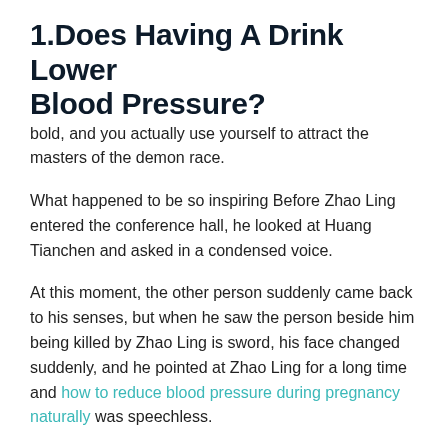1.Does Having A Drink Lower Blood Pressure?
bold, and you actually use yourself to attract the masters of the demon race.
What happened to be so inspiring Before Zhao Ling entered the conference hall, he looked at Huang Tianchen and asked in a condensed voice.
At this moment, the other person suddenly came back to his senses, but when he saw the person beside him being killed by Zhao Ling is sword, his face changed suddenly, and he pointed at Zhao Ling for a long time and how to reduce blood pressure during pregnancy naturally was speechless.
The time to enter the inner hall is also determined by personal talent.Those with extremely high talent who will soon become